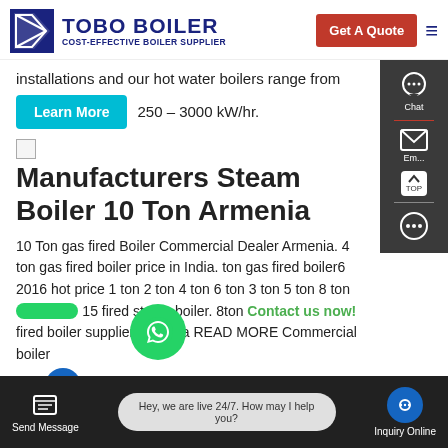TOBO BOILER - COST-EFFECTIVE BOILER SUPPLIER | Get A Quote
installations and our hot water boilers range from 250 – 3000 kW/hr.
Learn More
Manufacturers Steam Boiler 10 Ton Armenia
10 Ton gas fired Boiler Commercial Dealer Armenia. 4 ton gas fired boiler price in India. ton gas fired boiler6 2016 hot price 1 ton 2 ton 4 ton 6 ton 3 ton 5 ton 8 ton 15 fired steam boiler. 8ton gas fired boiler suppliers in india READ MORE Commercial boiler 4 B... Cle...
Send Message | Hey, we are live 24/7. How may I help you? | Inquiry Online